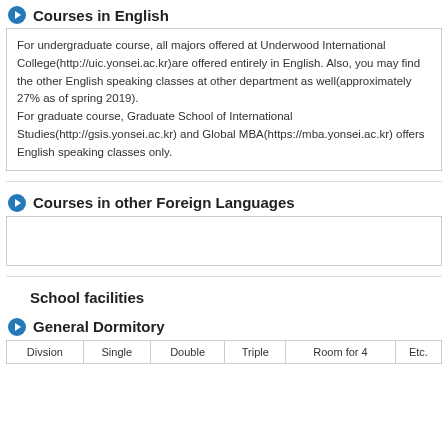Courses in English
For undergraduate course, all majors offered at Underwood International College(http://uic.yonsei.ac.kr)are offered entirely in English. Also, you may find the other English speaking classes at other department as well(approximately 27% as of spring 2019).
For graduate course, Graduate School of International Studies(http://gsis.yonsei.ac.kr) and Global MBA(https://mba.yonsei.ac.kr) offers English speaking classes only.
Courses in other Foreign Languages
School facilities
General Dormitory
| Divsion | Single | Double | Triple | Room for 4 | Etc. |
| --- | --- | --- | --- | --- | --- |